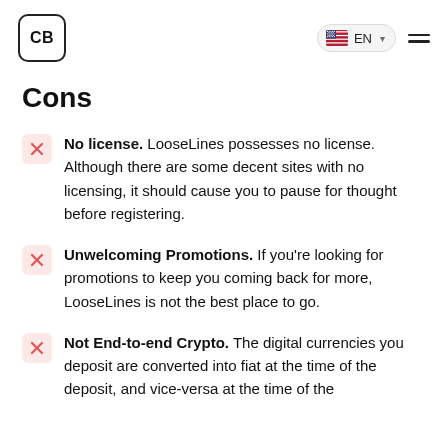CB | EN
Cons
No license. LooseLines possesses no license. Although there are some decent sites with no licensing, it should cause you to pause for thought before registering.
Unwelcoming Promotions. If you're looking for promotions to keep you coming back for more, LooseLines is not the best place to go.
Not End-to-end Crypto. The digital currencies you deposit are converted into fiat at the time of the deposit, and vice-versa at the time of the